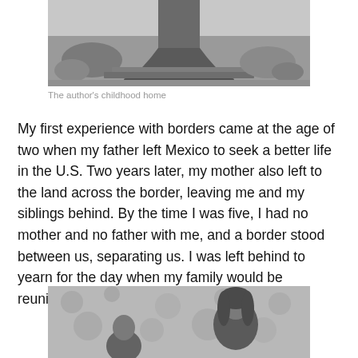[Figure (photo): Black and white photograph of the author's childhood home, showing a tree trunk and base with wooden planks and rocks in a dusty outdoor setting.]
The author's childhood home
My first experience with borders came at the age of two when my father left Mexico to seek a better life in the U.S. Two years later, my mother also left to the land across the border, leaving me and my siblings behind. By the time I was five, I had no mother and no father with me, and a border stood between us, separating us. I was left behind to yearn for the day when my family would be reunited.
[Figure (photo): Black and white photograph showing a person (possibly a child or young person) in front of a patterned background, partially visible at the bottom of the page.]